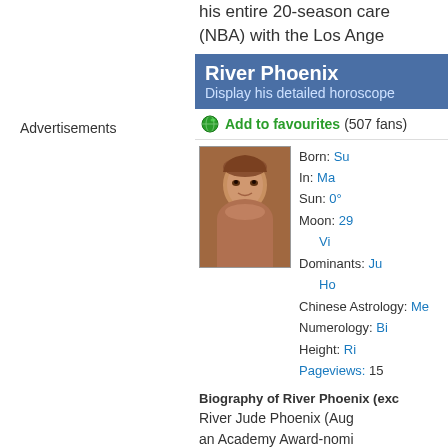his entire 20-season care (NBA) with the Los Angel
Advertisements
River Phoenix
Display his detailed horoscope
Add to favourites (507 fans)
[Figure (photo): Portrait photo of River Phoenix, young man with light brown hair]
Born: Su
In: Ma
Sun: 0°
Moon: 29
Vi
Dominants: Ju
Ho
Chinese Astrology: Me
Numerology: Bi
Height: Ri
Pageviews: 15
Biography of River Phoenix (exc
River Jude Phoenix (Aug an Academy Award-nomi John Wilfid G...